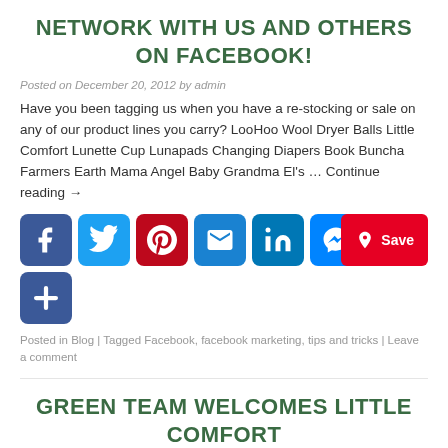NETWORK WITH US AND OTHERS ON FACEBOOK!
Posted on December 20, 2012 by admin
Have you been tagging us when you have a re-stocking or sale on any of our product lines you carry? LooHoo Wool Dryer Balls Little Comfort Lunette Cup Lunapads Changing Diapers Book Buncha Farmers Earth Mama Angel Baby Grandma El's … Continue reading →
[Figure (infographic): Social media sharing buttons: Facebook, Twitter, Pinterest, Email, LinkedIn, Messenger, Share (plus), and a Pinterest Save button]
Posted in Blog | Tagged Facebook, facebook marketing, tips and tricks | Leave a comment
GREEN TEAM WELCOMES LITTLE COMFORT